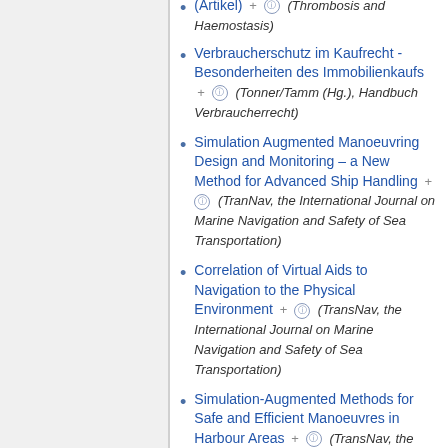(Artikel) + (Thrombosis and Haemostasis)
Verbraucherschutz im Kaufrecht - Besonderheiten des Immobilienkaufs + (Tonner/Tamm (Hg.), Handbuch Verbraucherrecht)
Simulation Augmented Manoeuvring Design and Monitoring – a New Method for Advanced Ship Handling + (TranNav, the International Journal on Marine Navigation and Safety of Sea Transportation)
Correlation of Virtual Aids to Navigation to the Physical Environment + (TransNav, the International Journal on Marine Navigation and Safety of Sea Transportation)
Simulation-Augmented Methods for Safe and Efficient Manoeuvres in Harbour Areas + (TransNav, the